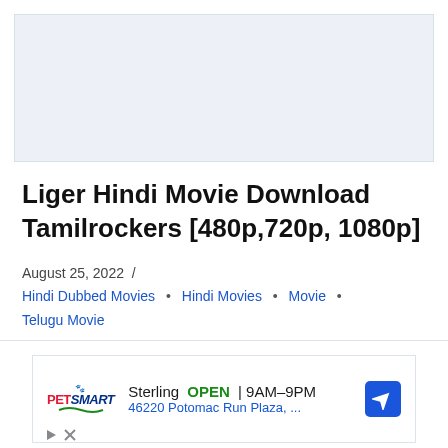[Figure (other): Advertisement banner placeholder area with light blue-gray background]
Liger Hindi Movie Download Tamilrockers [480p,720p, 1080p]
August 25, 2022  /  Hindi Dubbed Movies  •  Hindi Movies  •  Movie  •  Telugu Movie
[Figure (other): PetSmart advertisement showing Sterling location OPEN 9AM-9PM at 46220 Potomac Run Plaza with navigation arrow icon]